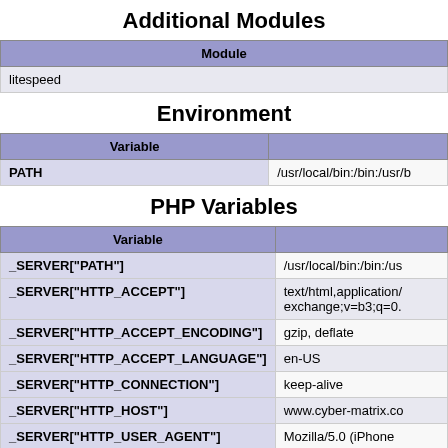Additional Modules
| Module |
| --- |
| litespeed |
Environment
| Variable | Value |
| --- | --- |
| PATH | /usr/local/bin:/bin:/usr/b... |
PHP Variables
| Variable | Value |
| --- | --- |
| _SERVER["PATH"] | /usr/local/bin:/bin:/us... |
| _SERVER["HTTP_ACCEPT"] | text/html,application/...exchange;v=b3;q=0.... |
| _SERVER["HTTP_ACCEPT_ENCODING"] | gzip, deflate |
| _SERVER["HTTP_ACCEPT_LANGUAGE"] | en-US |
| _SERVER["HTTP_CONNECTION"] | keep-alive |
| _SERVER["HTTP_HOST"] | www.cyber-matrix.co... |
| _SERVER["HTTP_USER_AGENT"] | Mozilla/5.0 (iPhone... |